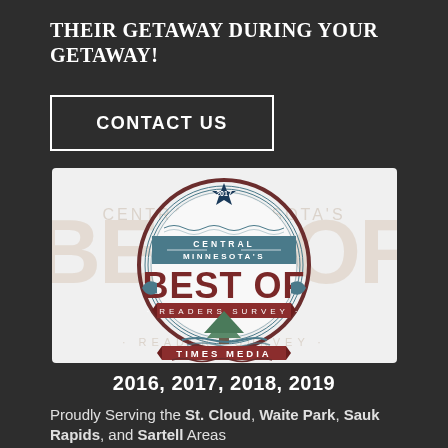THEIR GETAWAY DURING YOUR GETAWAY!
CONTACT US
[Figure (logo): Central Minnesota's Best Of Readers Survey Times Media 2017 badge/seal logo with circular design, star at top, evergreen tree, decorative banner elements in teal and brown colors]
2016, 2017, 2018, 2019
Proudly Serving the St. Cloud, Waite Park, Sauk Rapids, and Sartell Areas